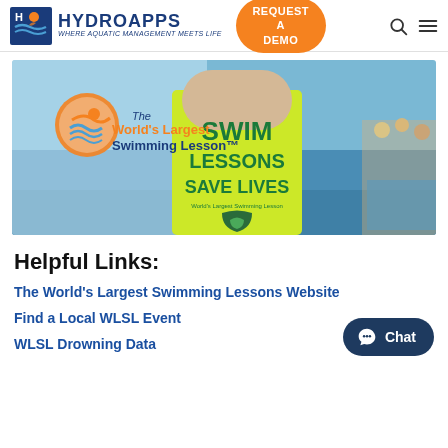HYDROAPPS — WHERE AQUATIC MANAGEMENT MEETS LIFE | REQUEST A DEMO
[Figure (photo): Banner photo showing a person in a bright yellow t-shirt reading 'SWIM LESSONS SAVE LIVES' standing at a pool, with the 'The World's Largest Swimming Lesson' logo on the left side.]
Helpful Links:
The World's Largest Swimming Lessons Website
Find a Local WLSL Event
WLSL Drowning Data